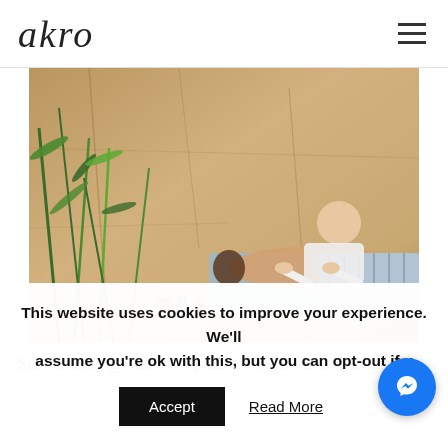akro
[Figure (photo): Outdoor massage scene: a therapist giving a back massage to a person lying on a table, surrounded by green plants and a rocky stone wall background]
Sea-renenity @ Akro – A place to relax... If God created
This website uses cookies to improve your experience. We'll assume you're ok with this, but you can opt-out if you wish.
Accept   Read More